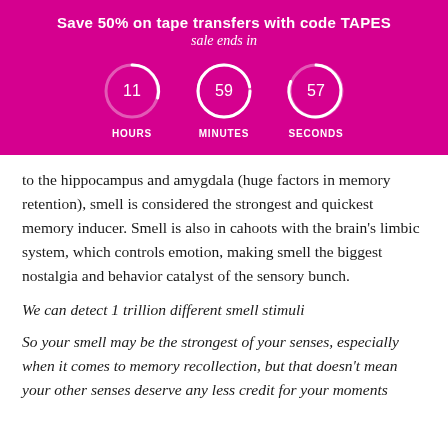Save 50% on tape transfers with code TAPES
sale ends in
[Figure (infographic): Countdown timer showing 11 HOURS, 59 MINUTES, 57 SECONDS as circular arc indicators on a magenta/pink background]
to the hippocampus and amygdala (huge factors in memory retention), smell is considered the strongest and quickest memory inducer. Smell is also in cahoots with the brain's limbic system, which controls emotion, making smell the biggest nostalgia and behavior catalyst of the sensory bunch.
We can detect 1 trillion different smell stimuli
So your smell may be the strongest of your senses, especially when it comes to memory recollection, but that doesn't mean your other senses deserve any less credit for your moments